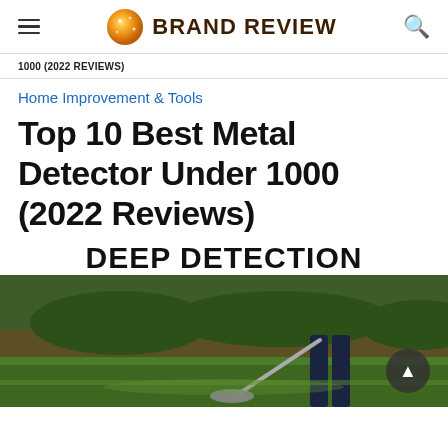BRAND REVIEW
1000 (2022 REVIEWS)
Home Improvement & Tools
Top 10 Best Metal Detector Under 1000 (2022 Reviews)
DEEP DETECTION
[Figure (photo): Person using a metal detector on a grass lawn, outdoor scene]